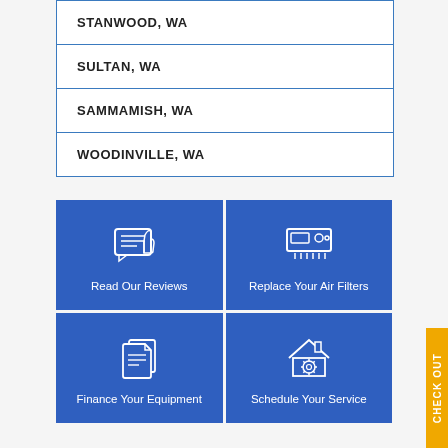| STANWOOD, WA |
| SULTAN, WA |
| SAMMAMISH, WA |
| WOODINVILLE, WA |
[Figure (infographic): Four blue tile buttons: Read Our Reviews (chat/thumbs-up icon), Replace Your Air Filters (AC unit icon), Finance Your Equipment (document icon), Schedule Your Service (house with gear icon). A yellow CHECK OUT tab on the right edge.]